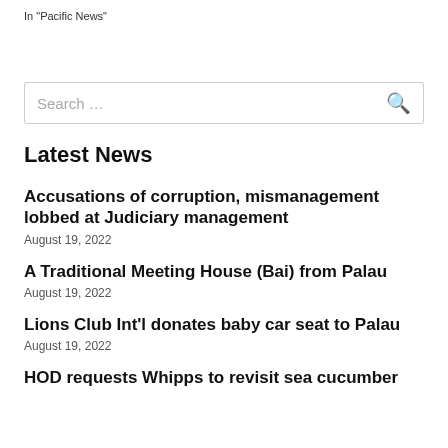In "Pacific News"
Latest News
Accusations of corruption, mismanagement lobbed at Judiciary management
August 19, 2022
A Traditional Meeting House (Bai) from Palau
August 19, 2022
Lions Club Int'l donates baby car seat to Palau
August 19, 2022
HOD requests Whipps to revisit sea cucumber